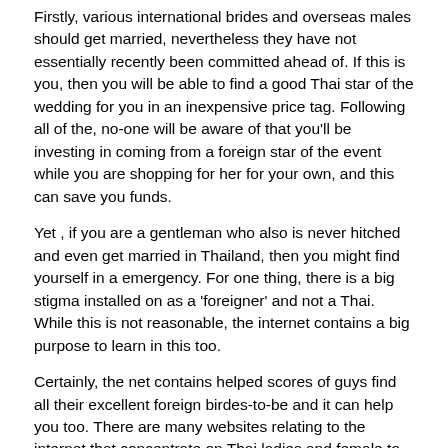Firstly, various international brides and overseas males should get married, nevertheless they have not essentially recently been committed ahead of. If this is you, then you will be able to find a good Thai star of the wedding for you in an inexpensive price tag. Following all of the, no-one will be aware of that you'll be investing in coming from a foreign star of the event while you are shopping for her for your own, and this can save you funds.
Yet , if you are a gentleman who also is never hitched and even get married in Thailand, then you might find yourself in a emergency. For one thing, there is a big stigma installed on as a 'foreigner' and not a Thai. While this is not reasonable, the internet contains a big purpose to learn in this too.
Certainly, the net contains helped scores of guys find all their excellent foreign birdes-to-be and it can help you too. There are many websites relating to the internet that concentrate on Thai ladies and female to male intimacy. These sites are good for foreigners who also are searching for Thai wedding brides. Even when you don't know anyone who can assist you locate a Thailänder new bride, then you can accomplish that.
Naturally , numerous sites charge you a fee, but it is usually worthwhile. As you could possess to fork out more to get yourself a great Thailänder woman on line, you will be pleased with the effects.
The great thing regarding online to get yourself a Thai female